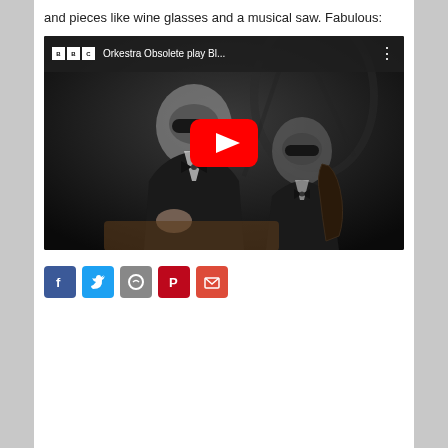and pieces like wine glasses and a musical saw. Fabulous:
[Figure (screenshot): YouTube video embed showing two men in tuxedos and black masks playing musical instruments. The video title reads 'Orkestra Obsolete play Bl...' with BBC logo. A red YouTube play button is centered on the image.]
[Figure (infographic): Row of social sharing icons: Facebook (blue), Twitter (light blue), Google+ (grey), Pinterest (red), and another red icon (email/share).]